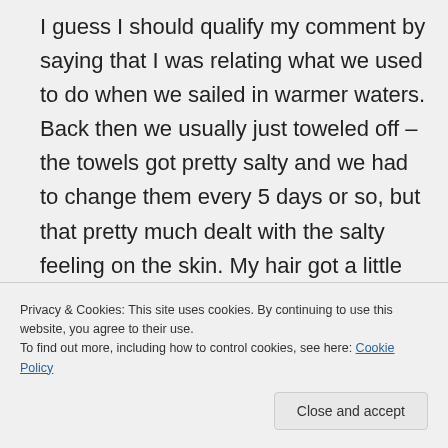I guess I should qualify my comment by saying that I was relating what we used to do when we sailed in warmer waters. Back then we usually just toweled off – the towels got pretty salty and we had to change them every 5 days or so, but that pretty much dealt with the salty feeling on the skin. My hair got a little itchy but I was only 21
Privacy & Cookies: This site uses cookies. By continuing to use this website, you agree to their use.
To find out more, including how to control cookies, see here: Cookie Policy
places where we find it too cold to